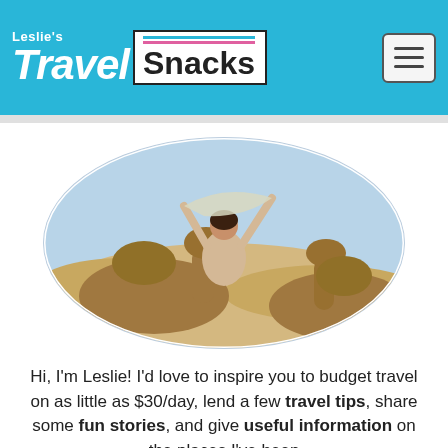Leslie's Travel Snacks [navigation header with hamburger menu]
[Figure (photo): Woman riding a camel in a desert landscape, raising a shawl/scarf above her head, set in an oval-cropped photo.]
Hi, I'm Leslie! I'd love to inspire you to budget travel on as little as $30/day, lend a few travel tips, share some fun stories, and give useful information on the places I've been … the type of information that I search for before I travel to a place. I still have so much more to write from my past travels!